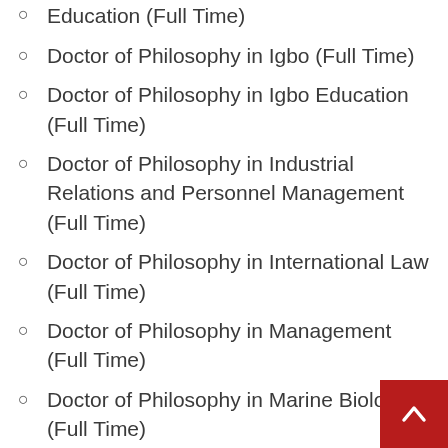Doctor of Philosophy in History Education (Full Time)
Doctor of Philosophy in Igbo (Full Time)
Doctor of Philosophy in Igbo Education (Full Time)
Doctor of Philosophy in Industrial Relations and Personnel Management (Full Time)
Doctor of Philosophy in International Law (Full Time)
Doctor of Philosophy in Management (Full Time)
Doctor of Philosophy in Marine Biology (Full Time)
Doctor of Philosophy in Marketing (Full Time)